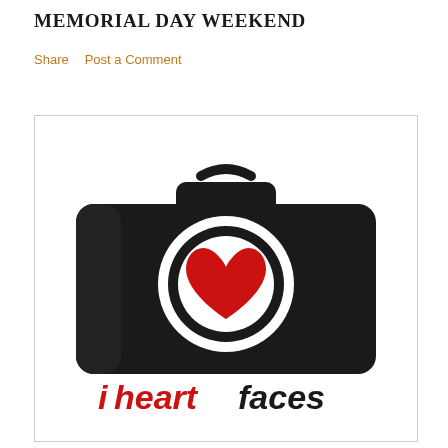MEMORIAL DAY WEEKEND
Share   Post a Comment
[Figure (logo): iheartfaces logo: a camera icon with a red heart in the lens, and the text 'iheartfaces' below in black and red]